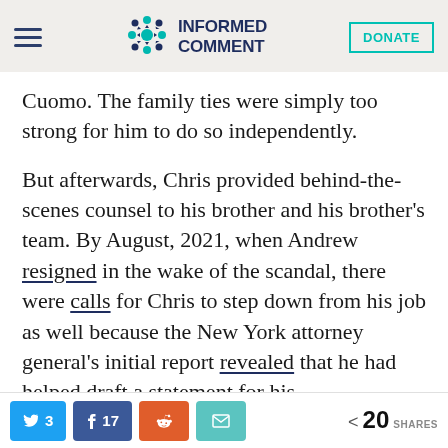INFORMED COMMENT | DONATE
Cuomo. The family ties were simply too strong for him to do so independently.
But afterwards, Chris provided behind-the-scenes counsel to his brother and his brother’s team. By August, 2021, when Andrew resigned in the wake of the scandal, there were calls for Chris to step down from his job as well because the New York attorney general’s initial report revealed that he had helped draft a statement for his brother in February. Andrew denied it
3 | 17 | (reddit share) | (email share) | < 20 SHARES